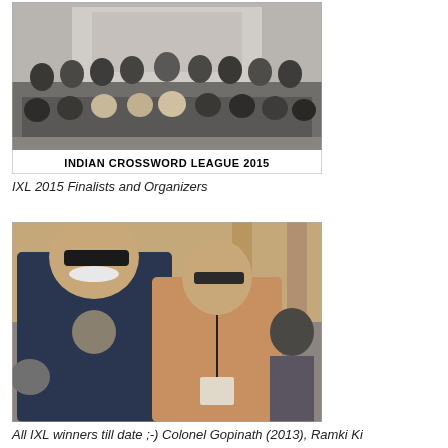[Figure (photo): Group photo of Indian Crossword League 2015 finalists and organizers on stage with a banner reading 'INDIAN CROSSWORD LEAGUE 2015']
IXL 2015 Finalists and Organizers
[Figure (photo): Two men posing together at an event: a large man with sunglasses and white mustache on the left, and a slimmer man with glasses wearing a badge on the right. Other attendees visible in the background.]
All IXL winners till date ;-) Colonel Gopinath (2013), Ramki Krishna (2014, 2015)